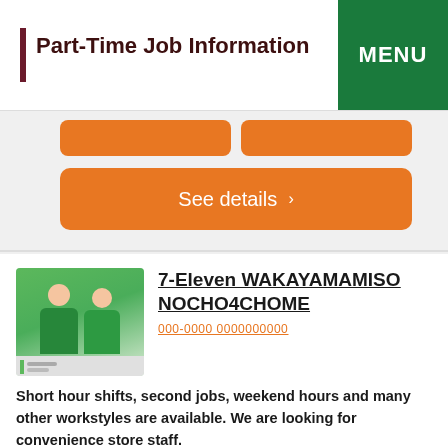Part-Time Job Information
MENU
See details >
7-Eleven WAKAYAMAMISO NOCHO4CHOME
000-0000 0000000000
Short hour shifts, second jobs, weekend hours and many other workstyles are available. We are looking for convenience store staff.
Salary：Hourly pay from 860 yen
Apply by phone
Apply now